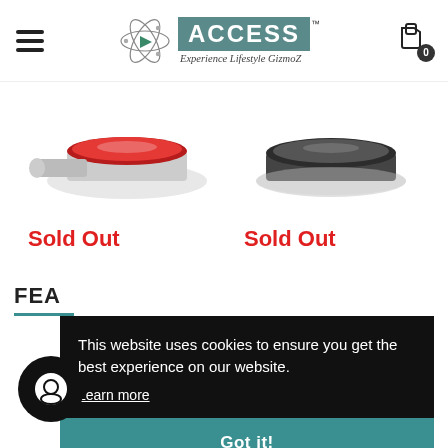[Figure (screenshot): Website header with hamburger menu, atom logo, ACCESS brand logo with tagline 'Experience Lifestyle GizmoZ', and cart icon with 0 badge]
[Figure (photo): Two product images side by side: left shows a red disc/gadget, right shows a dark disc/gadget]
Sold Out
Sold Out
FEA
This website uses cookies to ensure you get the best experience on our website.
Learn more
Got it!